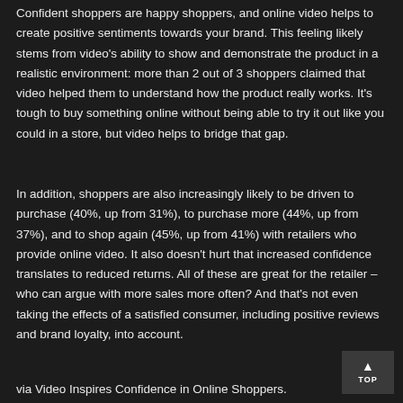Confident shoppers are happy shoppers, and online video helps to create positive sentiments towards your brand. This feeling likely stems from video's ability to show and demonstrate the product in a realistic environment: more than 2 out of 3 shoppers claimed that video helped them to understand how the product really works. It's tough to buy something online without being able to try it out like you could in a store, but video helps to bridge that gap.
In addition, shoppers are also increasingly likely to be driven to purchase (40%, up from 31%), to purchase more (44%, up from 37%), and to shop again (45%, up from 41%) with retailers who provide online video. It also doesn't hurt that increased confidence translates to reduced returns. All of these are great for the retailer – who can argue with more sales more often? And that's not even taking the effects of a satisfied consumer, including positive reviews and brand loyalty, into account.
via Video Inspires Confidence in Online Shoppers.